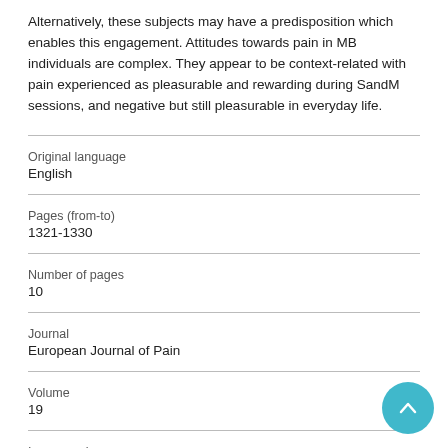Alternatively, these subjects may have a predisposition which enables this engagement. Attitudes towards pain in MB individuals are complex. They appear to be context-related with pain experienced as pleasurable and rewarding during SandM sessions, and negative but still pleasurable in everyday life.
| Original language | English |
| Pages (from-to) | 1321-1330 |
| Number of pages | 10 |
| Journal | European Journal of Pain |
| Volume | 19 |
| Issue number |  |